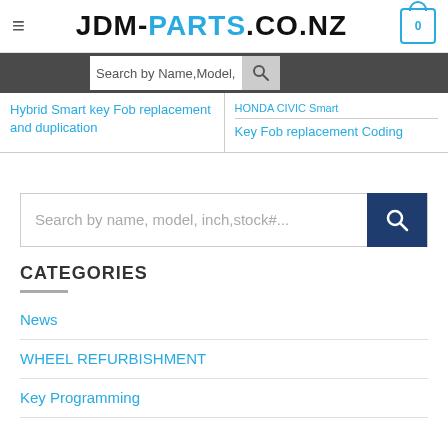[Figure (logo): JDM-PARTS.CO.NZ logo with hamburger menu and cart icon]
[Figure (screenshot): Search bar: Search by Name,Model,stock# with magnifier button on dark nav bar]
Hybrid Smart key Fob replacement and duplication
Key Fob replacement Coding
[Figure (screenshot): Main search box: Search by name, model, inch,stock#... with blue search button]
CATEGORIES
News
WHEEL REFURBISHMENT
Key Programming